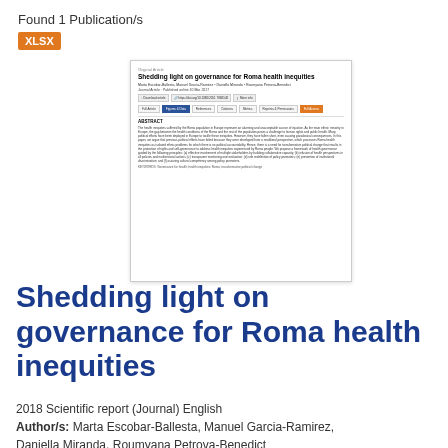Found 1 Publication/s
XLSX
[Figure (screenshot): Screenshot of a journal article page titled 'Shedding light on governance for Roma health inequities' showing abstract and navigation buttons]
Shedding light on governance for Roma health inequities
2018 Scientific report (Journal) English
Author/s: Marta Escobar-Ballesta, Manuel Garcia-Ramirez, Daniella Miranda, Roumyana Petrova-Benedict